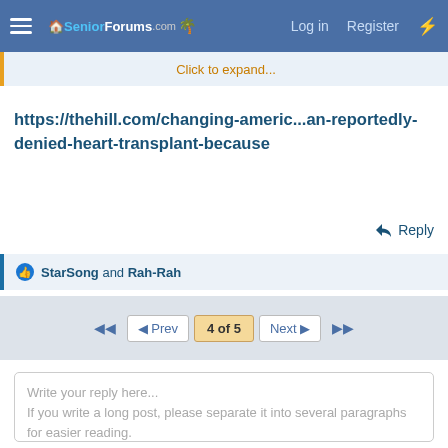SeniorForums.com — Log in   Register
Click to expand...
https://thehill.com/changing-americ...an-reportedly-denied-heart-transplant-because
Reply
StarSong and Rah-Rah
Prev   4 of 5   Next
Write your reply here...
If you write a long post, please separate it into several paragraphs for easier reading.